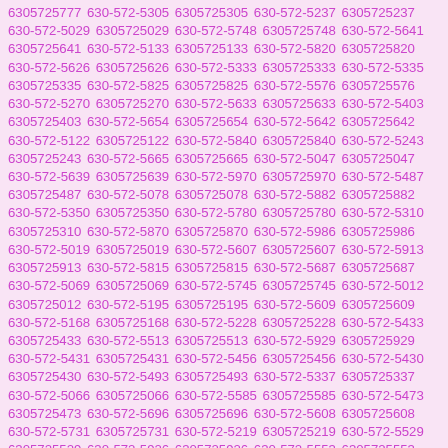6305725777 630-572-5305 6305725305 630-572-5237 6305725237 630-572-5029 6305725029 630-572-5748 6305725748 630-572-5641 6305725641 630-572-5133 6305725133 630-572-5820 6305725820 630-572-5626 6305725626 630-572-5333 6305725333 630-572-5335 6305725335 630-572-5825 6305725825 630-572-5576 6305725576 630-572-5270 6305725270 630-572-5633 6305725633 630-572-5403 6305725403 630-572-5654 6305725654 630-572-5642 6305725642 630-572-5122 6305725122 630-572-5840 6305725840 630-572-5243 6305725243 630-572-5665 6305725665 630-572-5047 6305725047 630-572-5639 6305725639 630-572-5970 6305725970 630-572-5487 6305725487 630-572-5078 6305725078 630-572-5882 6305725882 630-572-5350 6305725350 630-572-5780 6305725780 630-572-5310 6305725310 630-572-5870 6305725870 630-572-5986 6305725986 630-572-5019 6305725019 630-572-5607 6305725607 630-572-5913 6305725913 630-572-5815 6305725815 630-572-5687 6305725687 630-572-5069 6305725069 630-572-5745 6305725745 630-572-5012 6305725012 630-572-5195 6305725195 630-572-5609 6305725609 630-572-5168 6305725168 630-572-5228 6305725228 630-572-5433 6305725433 630-572-5513 6305725513 630-572-5929 6305725929 630-572-5431 6305725431 630-572-5456 6305725456 630-572-5430 6305725430 630-572-5493 6305725493 630-572-5337 6305725337 630-572-5066 6305725066 630-572-5585 6305725585 630-572-5473 6305725473 630-572-5696 6305725696 630-572-5608 6305725608 630-572-5731 6305725731 630-572-5219 6305725219 630-572-5529 6305725529 630-572-5926 6305725926 630-572-5553 6305725553 630-572-5397 6305725397 630-572-5324 6305725324 630-572-5453 6305725453 630-572-5225 6305725225 630-572-5992 6305725992